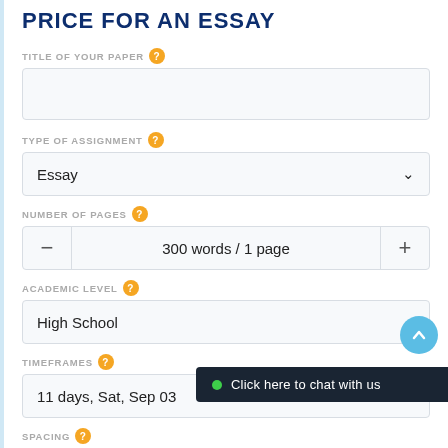PRICE FOR AN ESSAY
TITLE OF YOUR PAPER
TYPE OF ASSIGNMENT
Essay
NUMBER OF PAGES
300 words / 1 page
ACADEMIC LEVEL
High School
TIMEFRAMES
11 days, Sat, Sep 03
SPACING
Click here to chat with us